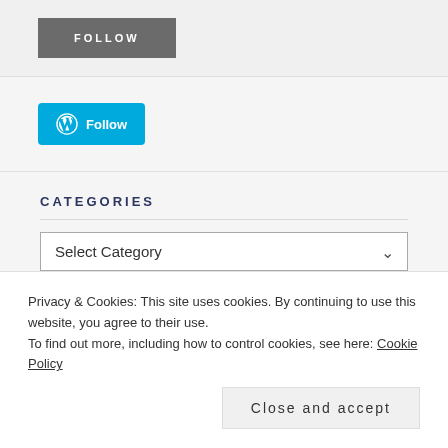[Figure (other): Dark gray Follow button with white uppercase text 'FOLLOW' and letter spacing]
[Figure (other): WordPress Follow button: blue rounded button with WP logo and 'Follow' text in white]
CATEGORIES
[Figure (other): Select Category dropdown input]
Privacy & Cookies: This site uses cookies. By continuing to use this website, you agree to their use.
To find out more, including how to control cookies, see here: Cookie Policy
Close and accept